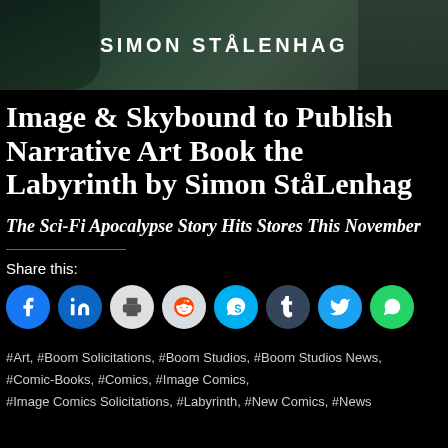[Figure (photo): Header image with dark green/teal background and the name SIMON STÅLENHAG centered in white bold uppercase letters]
Image & Skybound to Publish Narrative Art Book the Labyrinth by Simon StåLenhag
The Sci-Fi Apocalypse Story Hits Stores This November
Share this:
[Figure (infographic): Row of 8 circular social media share buttons: Facebook (blue), LinkedIn (blue), Print (light gray), Reddit (light gray), Skype (light blue), Tumblr (dark navy), Twitter (blue), WhatsApp (green)]
#Art, #Boom Solicitations, #Boom Studios, #Boom Studios News, #Comic-Books, #Comics, #Image Comics, #Image Comics Solicitations, #Labyrinth, #New Comics, #News